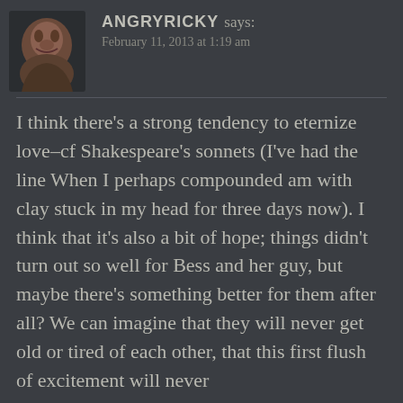[Figure (photo): Circular avatar photo of a person's face, partially visible, dark background]
ANGRYRICKY says:
February 11, 2013 at 1:19 am
I think there’s a strong tendency to eternize love–cf Shakespeare’s sonnets (I’ve had the line When I perhaps compounded am with clay stuck in my head for three days now). I think that it’s also a bit of hope; things didn’t turn out so well for Bess and her guy, but maybe there’s something better for them after all? We can imagine that they will never get old or tired of each other, that this first flush of excitement will never